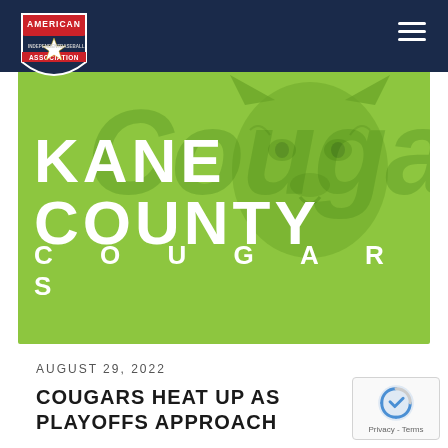[Figure (logo): American Association baseball league logo - shield shape with red top, star in center, text AMERICAN ASSOCIATION around shield]
[Figure (illustration): Kane County Cougars green banner with large white text KANE COUNTY and COUGARS, cougar mascot face watermark on right side, green background]
AUGUST 29, 2022
COUGARS HEAT UP AS PLAYOFFS APPROACH